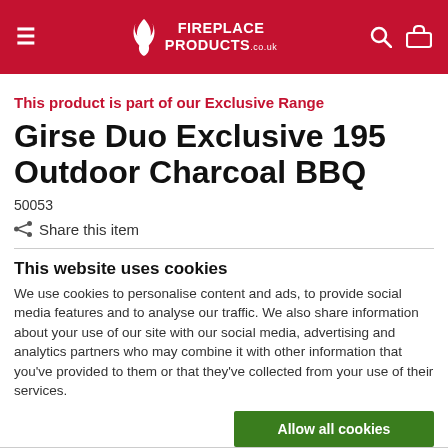FIREPLACE PRODUCTS .co.uk
This product is part of our Exclusive Range
Girse Duo Exclusive 195 Outdoor Charcoal BBQ
50053
Share this item
This website uses cookies
We use cookies to personalise content and ads, to provide social media features and to analyse our traffic. We also share information about your use of our site with our social media, advertising and analytics partners who may combine it with other information that you've provided to them or that they've collected from your use of their services.
Allow all cookies
Allow selection
Use necessary cookies only